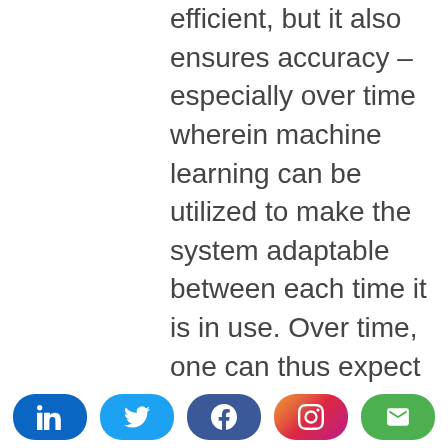efficient, but it also ensures accuracy – especially over time wherein machine learning can be utilized to make the system adaptable between each time it is in use. Over time, one can thus expect fewer errors and faults, by avoiding the element of human bias. Whilst
[Figure (other): Social sharing bar with LinkedIn, Twitter, Facebook, Instagram, and Email buttons]